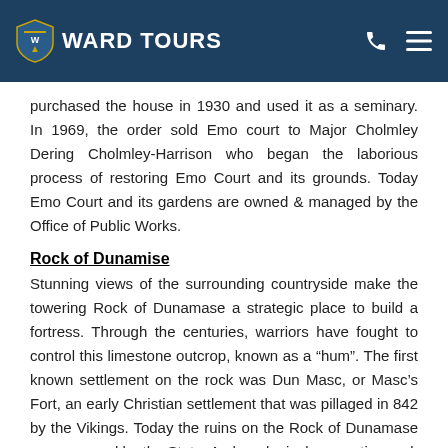WARD TOURS
purchased the house in 1930 and used it as a seminary. In 1969, the order sold Emo court to Major Cholmley Dering Cholmley-Harrison who began the laborious process of restoring Emo Court and its grounds. Today Emo Court and its gardens are owned & managed by the Office of Public Works.
Rock of Dunamise
Stunning views of the surrounding countryside make the towering Rock of Dunamase a strategic place to build a fortress. Through the centuries, warriors have fought to control this limestone outcrop, known as a “hum”. The first known settlement on the rock was Dun Masc, or Masc’s Fort, an early Christian settlement that was pillaged in 842 by the Vikings. Today the ruins on the Rock of Dunamase are managed by the State. Archaeological excavation and